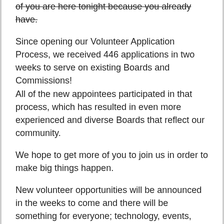of you are here tonight because you already have.
Since opening our Volunteer Application Process, we received 446 applications in two weeks to serve on existing Boards and Commissions! All of the new appointees participated in that process, which has resulted in even more experienced and diverse Boards that reflect our community.
We hope to get more of you to join us in order to make big things happen.
New volunteer opportunities will be announced in the weeks to come and there will be something for everyone; technology, events, promotions, master planning and more.
But in addition to your participation, I will also ask for your patience. Visible progress takes time - and yes, we will make mistakes along this journey. We must first work on laying the groundwork of trust and communication in order for real progress to emerge. I'll